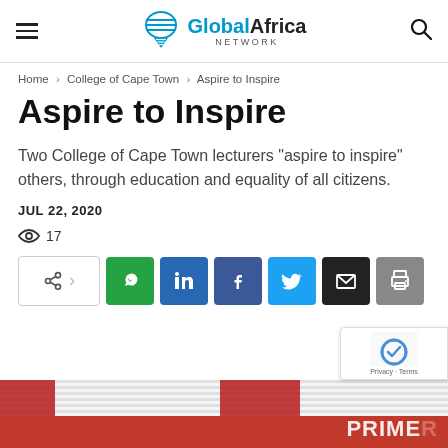Global Africa Network
Home › College of Cape Town › Aspire to Inspire
Aspire to Inspire
Two College of Cape Town lecturers "aspire to inspire" others, through education and equality of all citizens.
JUL 22, 2020
17
[Figure (screenshot): Social share buttons: WhatsApp, LinkedIn, Facebook, Twitter, Email, Print]
[Figure (photo): Bottom portion of a building photo with red band and partial text 'PRIMER' visible]